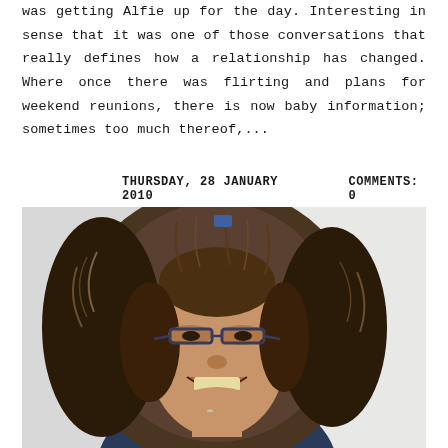was getting Alfie up for the day. Interesting in sense that it was one of those conversations that really defines how a relationship has changed. Where once there was flirting and plans for weekend reunions, there is now baby information; sometimes too much thereof,...
THURSDAY, 28 JANUARY 2010    COMMENTS: 0
[Figure (photo): A young person wearing glasses and a fur-trimmed hood jacket, smiling, photographed outdoors against a light grey sky.]